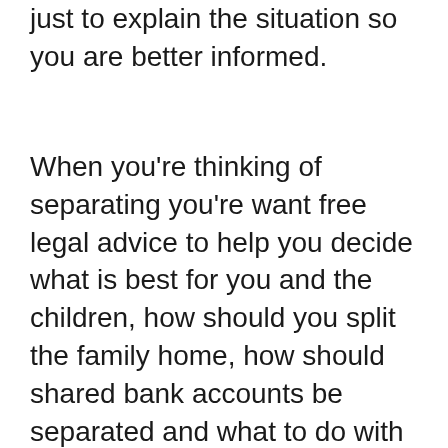just to explain the situation so you are better informed.
When you're thinking of separating you're want free legal advice to help you decide what is best for you and the children, how should you split the family home, how should shared bank accounts be separated and what to do with the family car, free legal advice